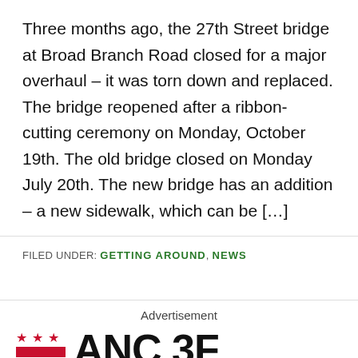Three months ago, the 27th Street bridge at Broad Branch Road closed for a major overhaul – it was torn down and replaced. The bridge reopened after a ribbon-cutting ceremony on Monday, October 19th. The old bridge closed on Monday July 20th. The new bridge has an addition – a new sidewalk, which can be […]
FILED UNDER: GETTING AROUND, NEWS
Advertisement
[Figure (logo): ANC 3F logo with DC flag (three red stars and red/white stripes) on the left and bold text 'ANC 3F' on the right]